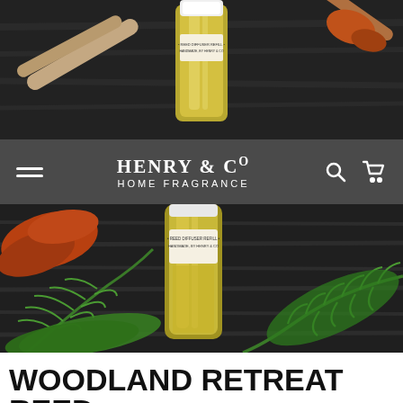[Figure (photo): Top-down view of a glass bottle with white cap surrounded by wooden sticks and orange botanicals on dark background]
HENRY & CO HOME FRAGRANCE
[Figure (photo): Close-up of a reed diffuser refill bottle labeled 'Reed Diffuser Refill, Handmade by Henry & Co', surrounded by green fern leaves and orange botanicals on dark textured fabric background]
WOODLAND RETREAT REED